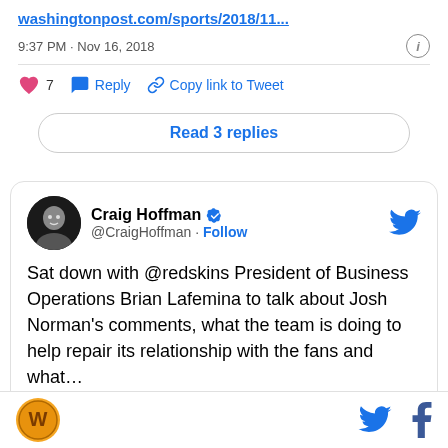washingtonpost.com/sports/2018/11...
9:37 PM · Nov 16, 2018
7  Reply  Copy link to Tweet
Read 3 replies
Craig Hoffman @CraigHoffman · Follow
Sat down with @redskins President of Business Operations Brian Lafemina to talk about Josh Norman's comments, what the team is doing to help repair its relationship with the fans and what…
instagram.com/p/BqSH3VjhZt7/...